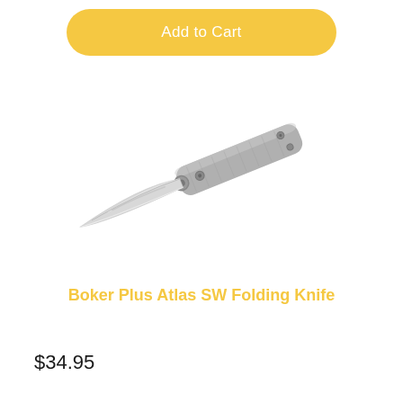Add to Cart
[Figure (photo): Boker Plus Atlas SW Folding Knife - open position showing silver/stainless steel blade and textured gray handle with rivets, photographed on white background at diagonal angle]
Boker Plus Atlas SW Folding Knife
$34.95